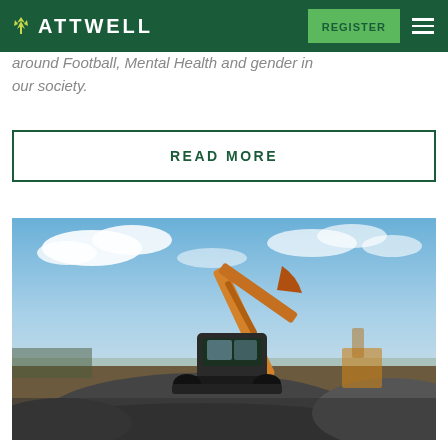ATTWELL | REGISTER
around Football, Mental Health and gender in our society.
READ MORE
[Figure (photo): An orange construction excavator on a mound of gravel/rubble at a construction site, with blue sky and clouds in the background.]